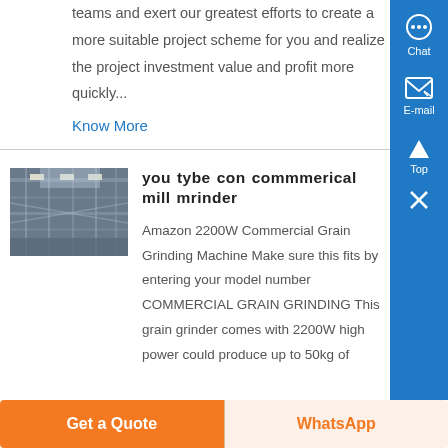teams and exert our greatest efforts to create a more suitable project scheme for you and realize the project investment value and profit more quickly...
Know More
you tybe con commmerical mill mrinder
[Figure (photo): Industrial ceiling structure with metal framework and lighting]
Amazon 2200W Commercial Grain Grinding Machine Make sure this fits by entering your model number COMMERCIAL GRAIN GRINDING This grain grinder comes with 2200W high power could produce up to 50kg of